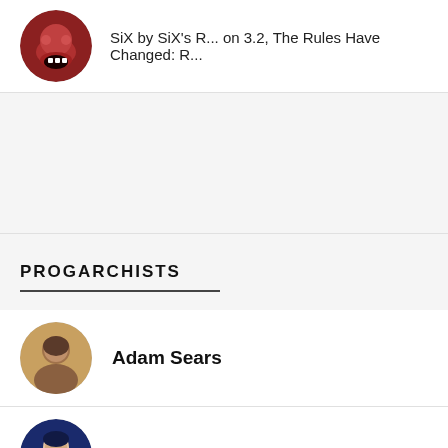SiX by SiX's R... on 3.2, The Rules Have Changed: R...
PROGARCHISTS
Adam Sears
alisonscolumn
Craig Breaden